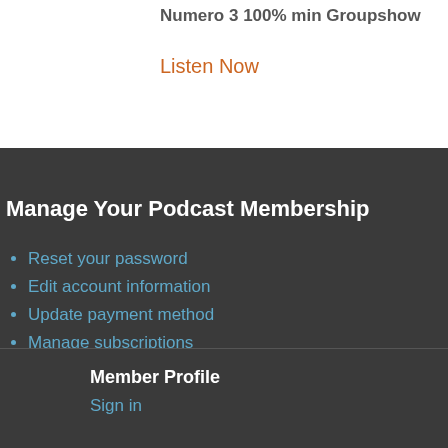Numero 3 100% min  Groupshow
Listen Now
Manage Your Podcast Membership
Reset your password
Edit account information
Update payment method
Manage subscriptions
View downloads
Subscribe to your members-only podcasts
Connect to your Discord Account
Member Profile
Sign in